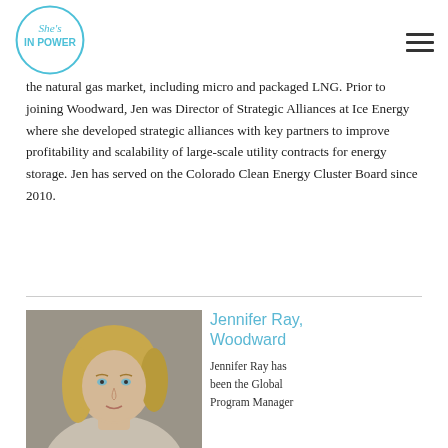She's In Power logo and navigation menu
the natural gas market, including micro and packaged LNG. Prior to joining Woodward, Jen was Director of Strategic Alliances at Ice Energy where she developed strategic alliances with key partners to improve profitability and scalability of large-scale utility contracts for energy storage. Jen has served on the Colorado Clean Energy Cluster Board since 2010.
[Figure (photo): Headshot photo of Jennifer Ray, a woman with blonde hair]
Jennifer Ray, Woodward
Jennifer Ray has been the Global Program Manager